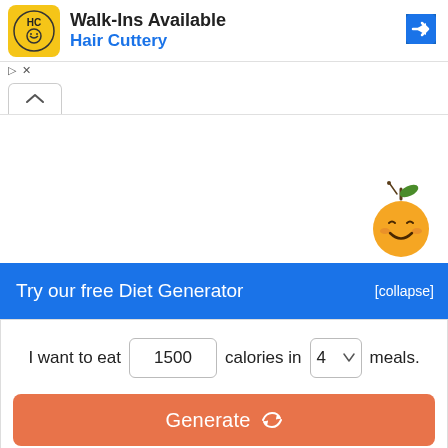[Figure (screenshot): Advertisement banner for Hair Cuttery with logo, 'Walk-Ins Available' heading, blue navigation arrow icon, and small ad attribution icons]
Walk-Ins Available
Hair Cuttery
[Figure (illustration): Orange smiling cartoon fruit mascot character with antenna and leaf, positioned above the blue diet generator banner]
Try our free Diet Generator
[collapse]
I want to eat 1500 calories in 4 meals.
Generate